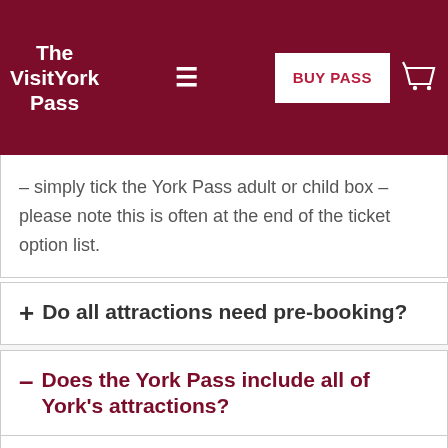The VisitYork Pass
– simply tick the York Pass adult or child box – please note this is often at the end of the ticket option list.
+ Do all attractions need pre-booking?
– Does the York Pass include all of York's attractions?
York city pass gives free entry to York city centre attractions... see full list here